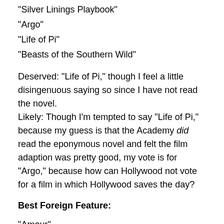“Silver Linings Playbook”
“Argo”
“Life of Pi”
“Beasts of the Southern Wild”
Deserved: “Life of Pi,” though I feel a little disingenuous saying so since I have not read the novel.
Likely: Though I’m tempted to say “Life of Pi,” because my guess is that the Academy did read the eponymous novel and felt the film adaption was pretty good, my vote is for “Argo,” because how can Hollywood not vote for a film in which Hollywood saves the day?
Best Foreign Feature:
“Amour”
“A Royal Affair”
“Kon-Tiki”
“No”
“War Witch”